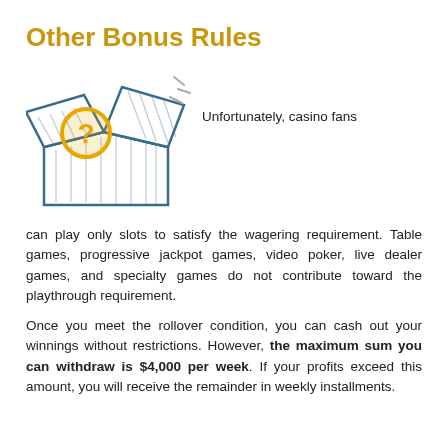Other Bonus Rules
[Figure (illustration): An open gift box with a question mark circle icon, illustrated in teal/blue and gold colors]
Unfortunately, casino fans can play only slots to satisfy the wagering requirement. Table games, progressive jackpot games, video poker, live dealer games, and specialty games do not contribute toward the playthrough requirement.
Once you meet the rollover condition, you can cash out your winnings without restrictions. However, the maximum sum you can withdraw is $4,000 per week. If your profits exceed this amount, you will receive the remainder in weekly installments.